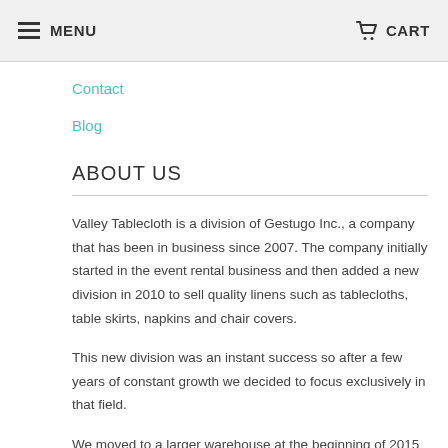MENU  CART
Contact
Blog
ABOUT US
Valley Tablecloth is a division of Gestugo Inc., a company that has been in business since 2007. The company initially started in the event rental business and then added a new division in 2010 to sell quality linens such as tablecloths, table skirts, napkins and chair covers.
This new division was an instant success so after a few years of constant growth we decided to focus exclusively in that field.
We moved to a larger warehouse at the beginning of 2015 and are now operating both in the United